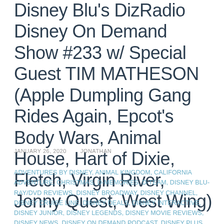Disney Blu's DizRadio Disney On Demand Show #233 w/ Special Guest TIM MATHESON (Apple Dumpling Gang Rides Again, Epcot's Body Wars, Animal House, Hart of Dixie, Fletch, Virgin River, Jonny Quest, West Wing)
JANUARY 26, 2020    JONATHAN
ADVENTURES BY DISNEY, ANIMAL KINGDOM, CALIFORNIA ADVENTURE, CHRISTMAS, D-MEMORIES, D-TEAM, DISNEY BLU-RAY/DVD REVIEWS, DISNEY BROADWAY, DISNEY CHANNEL, DISNEY CRUISE LINE, DISNEY DEALS, DISNEY INTERACTIVE, DISNEY JUNIOR, DISNEY LEGENDS, DISNEY MOVIE REVIEWS, DISNEY NEWS, DISNEY ON DEMAND PODCAST, DISNEY PLUS, DISNEY PUBLISHING, DISNEY RESORTS, DISNEY SPRINGS, DISNEY STORE, DISNEY XD, DISNEY+, DISNEYLAND, DIZ ON DEMAND, DIZRADIO, EPCOT, HOLLYWOOD STUDIOS, LUCASFILM, MAGIC KINGDOM, MARVEL, PIXAR, STAR WARS, THE MUPPETS, WALT DISNEY, WALT DISNEY ANIMATED